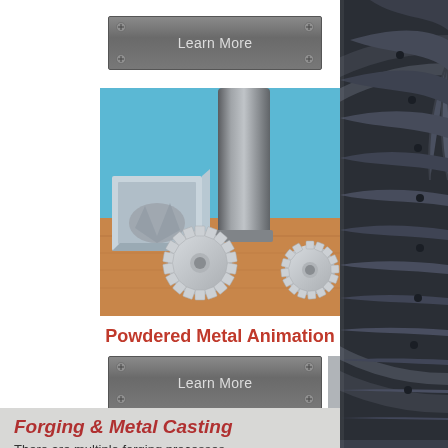[Figure (illustration): Metal 'Learn More' button with screw corner details, gray metallic finish]
[Figure (illustration): Animation screenshot showing powdered metal manufacturing process: a cylindrical metal press tool pressing down on gear-shaped metal powder parts on a wooden surface, with a mold box in the background. Blue background.]
Powdered Metal Animation
[Figure (illustration): Metal 'Learn More' button with screw corner details, gray metallic finish]
[Figure (photo): Close-up of turbine blade assembly, dark gray metallic, on right side of page]
Forging & Metal Casting
There are multiple forging processes